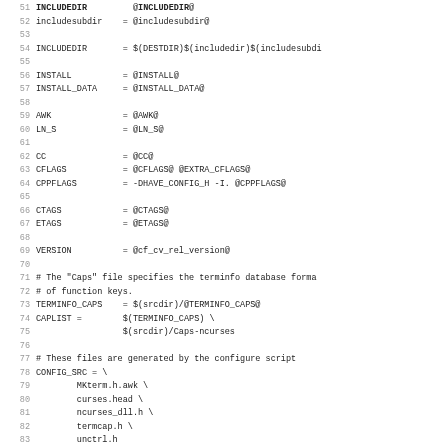Makefile code snippet, lines 51-83, showing Makefile variable assignments and comments for an ncurses build system